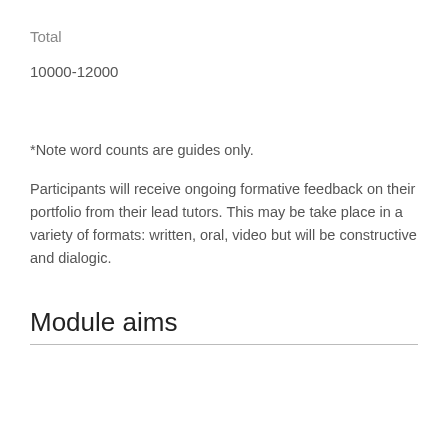Total
10000-12000
*Note word counts are guides only.
Participants will receive ongoing formative feedback on their portfolio from their lead tutors. This may be take place in a variety of formats: written, oral, video but will be constructive and dialogic.
Module aims